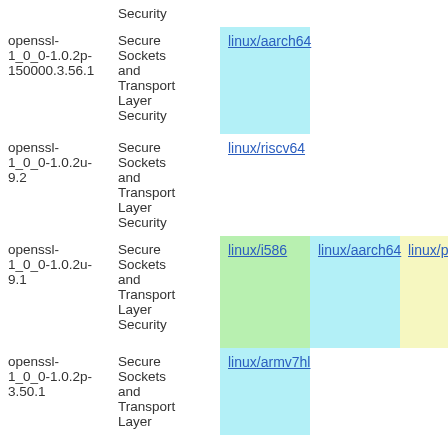| Package | Description | Arch1 | Arch2 | Arch3 |
| --- | --- | --- | --- | --- |
|  | Security |  |  |  |
| openssl-1_0_0-1.0.2p-150000.3.56.1 | Secure Sockets and Transport Layer Security | linux/aarch64 |  |  |
| openssl-1_0_0-1.0.2u-9.2 | Secure Sockets and Transport Layer Security | linux/riscv64 |  |  |
| openssl-1_0_0-1.0.2u-9.1 | Secure Sockets and Transport Layer Security | linux/i586 | linux/aarch64 | linux/ppc64 |
| openssl-1_0_0-1.0.2p-3.50.1 | Secure Sockets and Transport Layer Security | linux/armv7hl |  |  |